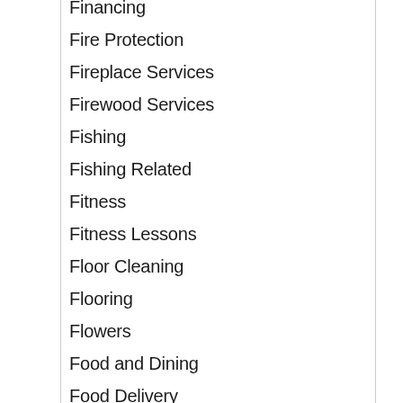Financing
Fire Protection
Fireplace Services
Firewood Services
Fishing
Fishing Related
Fitness
Fitness Lessons
Floor Cleaning
Flooring
Flowers
Food and Dining
Food Delivery
Foundation Repair
Foundations